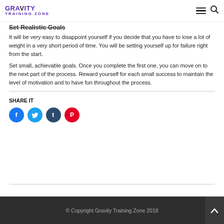Gravity Training Zone
Set Realistic Goals
It will be very easy to disappoint yourself if you decide that you have to lose a lot of weight in a very short period of time. You will be setting yourself up for failure right from the start.
Set small, achievable goals. Once you complete the first one, you can move on to the next part of the process. Reward yourself for each small success to maintain the level of motivation and to have fun throughout the process.
SHARE IT
[Figure (infographic): Social share buttons: Facebook (blue circle with f), Twitter (light blue circle with bird), Tumblr (dark blue circle with t), Pinterest (red circle with P)]
© Copyright Gravity Training Zone 2018